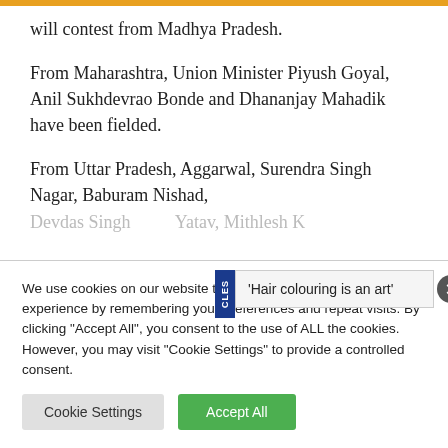will contest from Madhya Pradesh.
From Maharashtra, Union Minister Piyush Goyal, Anil Sukhdevrao Bonde and Dhananjay Mahadik have been fielded.
From Uttar Pradesh, Jagdambika Pal and Rajveer Singh Aggarwal, Surendra Singh Nagar, Baburam Nishad, Devdas Singh...Yatav, Mithlesh Kumar...
We use cookies on our website to give you the most relevant experience by remembering your preferences and repeat visits. By clicking "Accept All", you consent to the use of ALL the cookies. However, you may visit "Cookie Settings" to provide a controlled consent.